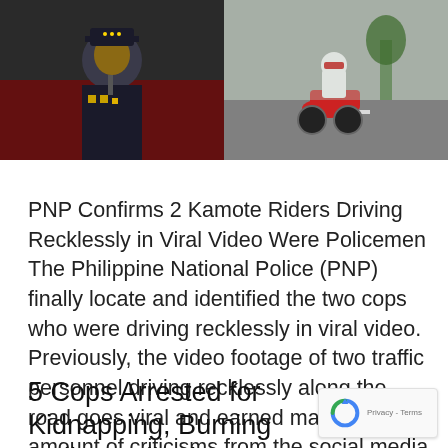[Figure (photo): Two-panel image: left panel shows a police officer in uniform at a podium, right panel shows a person riding a motorcycle on a road.]
PNP Confirms 2 Kamote Riders Driving Recklessly in Viral Video Were Policemen The Philippine National Police (PNP) finally locate and identified the two cops who were driving recklessly in viral video. Previously, the video footage of two traffic personnel driving recklessly along the road goes viral and earned massive amount of criticisms from the social media users. ... Read more
5 Cops Arrested for Kidnapping, Burning Online Seller in Nueva Ecija